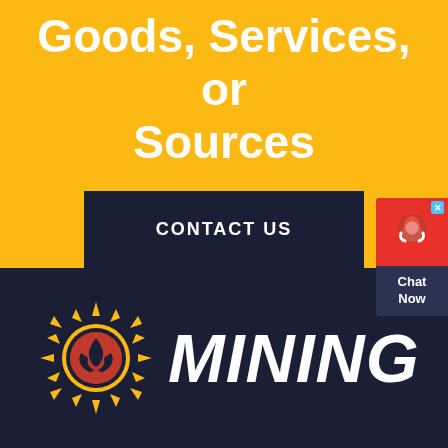We produce or supply Goods, Services, or Sources
CONTACT US
[Figure (other): Chat Now widget with red top section showing headset avatar icon and close button, dark bottom section with Chat Now text]
[Figure (logo): Mining company logo: golden sun with spiky rays, red and dark flame circle in center, with white bold italic MINING text beside it, on dark navy background]